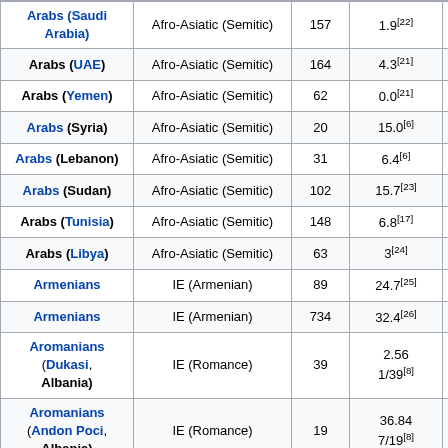| Group | Language Family | N | Consanguinity |  |
| --- | --- | --- | --- | --- |
| Arabs (Saudi Arabia) | Afro-Asiatic (Semitic) | 157 | 1.9[22] | 15 |
| Arabs (UAE) | Afro-Asiatic (Semitic) | 164 | 4.3[21] | 16 |
| Arabs (Yemen) | Afro-Asiatic (Semitic) | 62 | 0.0[21] | 62 |
| Arabs (Syria) | Afro-Asiatic (Semitic) | 20 | 15.0[6] | 20 |
| Arabs (Lebanon) | Afro-Asiatic (Semitic) | 31 | 6.4[6] | 31 |
| Arabs (Sudan) | Afro-Asiatic (Semitic) | 102 | 15.7[23] |  |
| Arabs (Tunisia) | Afro-Asiatic (Semitic) | 148 | 6.8[17] | 148 |
| Arabs (Libya) | Afro-Asiatic (Semitic) | 63 | 3[24] | 63 |
| Armenians | IE (Armenian) | 89 | 24.7[25] | 89 |
| Armenians | IE (Armenian) | 734 | 32.4[26] | 734 |
| Aromanians (Dukasi, Albania) | IE (Romance) | 39 | 2.56 1/39[8] | 39 |
| Aromanians (Andon Poci, Albania) | IE (Romance) | 19 | 36.84 7/19[8] | 19 |